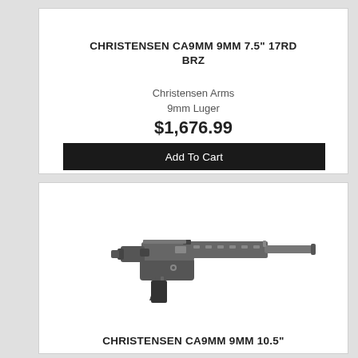CHRISTENSEN CA9MM 9MM 7.5" 17RD BRZ
Christensen Arms
9mm Luger
$1,676.99
Add To Cart
[Figure (photo): Photo of a Christensen CA9MM 9MM 10.5" pistol/short-barreled rifle in dark/gunmetal finish with folding brace, M-LOK handguard, and extended barrel.]
CHRISTENSEN CA9MM 9MM 10.5"